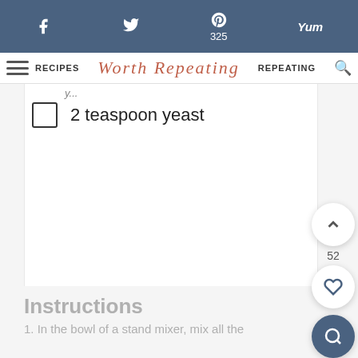f [Facebook] | [Twitter] | p 325 [Pinterest] | Yum
RECIPES | Worth Repeating | REPEATING
2 teaspoon yeast
Instructions
1. In the bowl of a stand mixer, mix all the